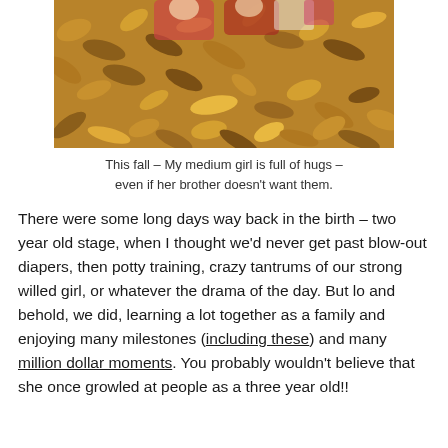[Figure (photo): Children playing in a pile of autumn leaves, partially visible at top of page]
This fall – My medium girl is full of hugs – even if her brother doesn't want them.
There were some long days way back in the birth – two year old stage, when I thought we'd never get past blow-out diapers, then potty training, crazy tantrums of our strong willed girl, or whatever the drama of the day. But lo and behold, we did, learning a lot together as a family and enjoying many milestones (including these) and many million dollar moments. You probably wouldn't believe that she once growled at people as a three year old!!